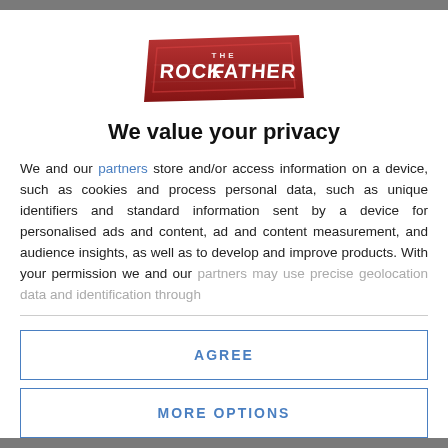[Figure (logo): The Rock Father logo — stylized red and white text on a distressed badge/banner graphic]
We value your privacy
We and our partners store and/or access information on a device, such as cookies and process personal data, such as unique identifiers and standard information sent by a device for personalised ads and content, ad and content measurement, and audience insights, as well as to develop and improve products. With your permission we and our partners may use precise geolocation data and identification through
AGREE
MORE OPTIONS
DISAGREE